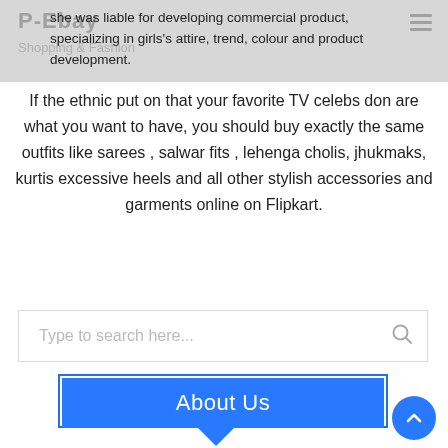P-Ebay Shopping & Fashion
she was liable for developing commercial product, specializing in girls's attire, trend, colour and product development.
If the ethnic put on that your favorite TV celebs don are what you want to have, you should buy exactly the same outfits like sarees , salwar fits , lehenga cholis, jhukmaks, kurtis excessive heels and all other stylish accessories and garments online on Flipkart.
Type to search here...
About Us